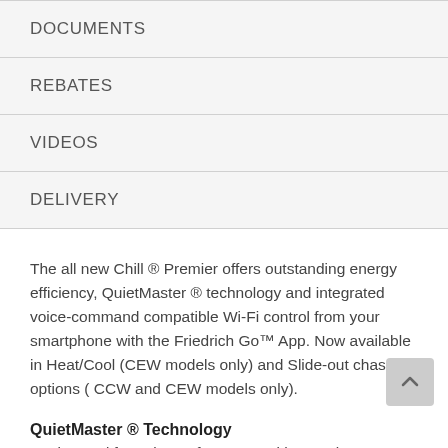DOCUMENTS
REBATES
VIDEOS
DELIVERY
The all new Chill ® Premier offers outstanding energy efficiency, QuietMaster ® technology and integrated voice-command compatible Wi-Fi control from your smartphone with the Friedrich Go™ App. Now available in Heat/Cool (CEW models only) and Slide-out chassis options ( CCW and CEW models only).
QuietMaster ® Technology
Engineered for quiet performance with superior